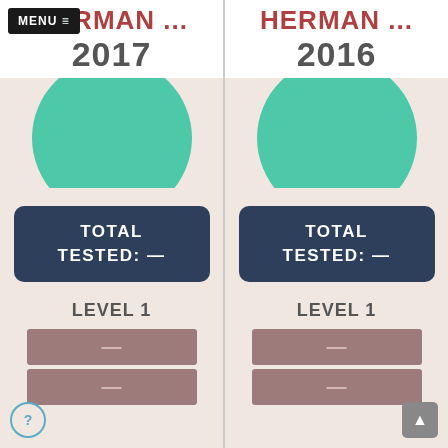MENU ≡
HERMAN ... 2017
[Figure (infographic): Teal/green semicircle graphic representing school data for 2017]
TOTAL TESTED: —
LEVEL 1
[Figure (infographic): Two mauve/dusty rose stat bars with dash placeholders for Level 1 data, 2017]
HERMAN ... 2016
[Figure (infographic): Teal/green semicircle graphic representing school data for 2016]
TOTAL TESTED: —
LEVEL 1
[Figure (infographic): Two mauve/dusty rose stat bars with dash placeholders for Level 1 data, 2016]